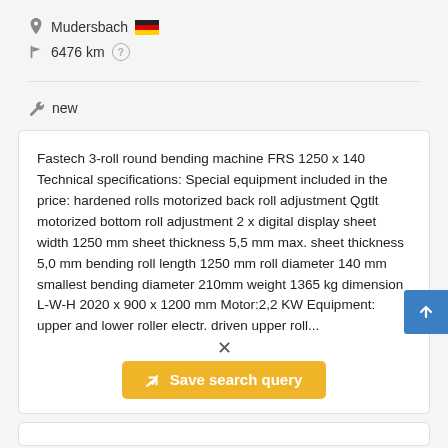Mudersbach 🇩🇪
6476 km
new
Fastech 3-roll round bending machine FRS 1250 x 140 Technical specifications: Special equipment included in the price: hardened rolls motorized back roll adjustment Qgtlt motorized bottom roll adjustment 2 x digital display sheet width 1250 mm sheet thickness 5,5 mm max. sheet thickness 5,0 mm bending roll length 1250 mm roll diameter 140 mm smallest bending diameter 210mm weight 1365 kg dimension L-W-H 2020 x 900 x 1200 mm Motor:2,2 KW Equipment: upper and lower roller electr. driven upper roll...
Save search query